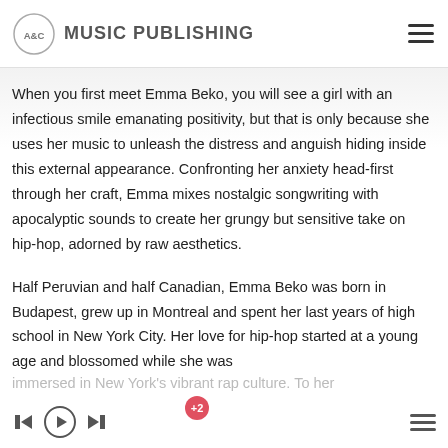A&C MUSIC PUBLISHING
When you first meet Emma Beko, you will see a girl with an infectious smile emanating positivity, but that is only because she uses her music to unleash the distress and anguish hiding inside this external appearance. Confronting her anxiety head-first through her craft, Emma mixes nostalgic songwriting with apocalyptic sounds to create her grungy but sensitive take on hip-hop, adorned by raw aesthetics.
Half Peruvian and half Canadian, Emma Beko was born in Budapest, grew up in Montreal and spent her last years of high school in New York City. Her love for hip-hop started at a young age and blossomed while she was immersed in New York's vibrant rap culture. To her